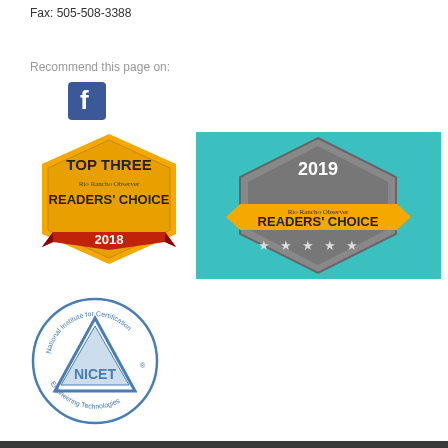Fax: 505-508-3388
Recommend this page on:
[Figure (logo): Facebook logo icon - blue square with white 'f' letter]
[Figure (logo): Rio Rancho Observer Readers' Choice Top Three badge 2018 - yellow hexagon badge with red ribbon]
[Figure (logo): Rio Rancho Observer Readers' Choice 2019 badge - teal background with gray diamond and yellow banner with stars]
[Figure (logo): NICET National Institute for Certification in Engineering Technologies circular badge with triangle logo]